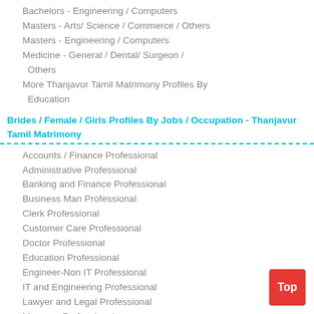Bachelors - Engineering / Computers
Masters - Arts/ Science / Commerce / Others
Masters - Engineering / Computers
Medicine - General / Dental/ Surgeon / Others
More Thanjavur Tamil Matrimony Profiles By Education
Brides / Female / Girls Profiles By Jobs / Occupation - Thanjavur Tamil Matrimony
Accounts / Finance Professional
Administrative Professional
Banking and Finance Professional
Business Man Professional
Clerk Professional
Customer Care Professional
Doctor Professional
Education Professional
Engineer-Non IT Professional
IT and Engineering Professional
Lawyer and Legal Professional
Manager Professional